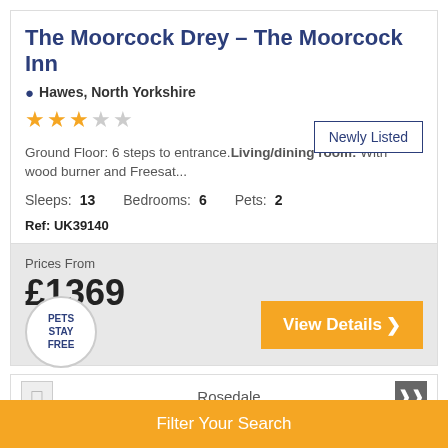The Moorcock Drey – The Moorcock Inn
Hawes, North Yorkshire
★★★☆☆
Ground Floor: 6 steps to entrance. Living/dining room: With wood burner and Freesat...
Sleeps: 13  Bedrooms: 6  Pets: 2
Newly Listed
Ref: UK39140
Prices From £1369
PETS STAY FREE
View Details
Rosedale
Rosedale
Filter Your Search